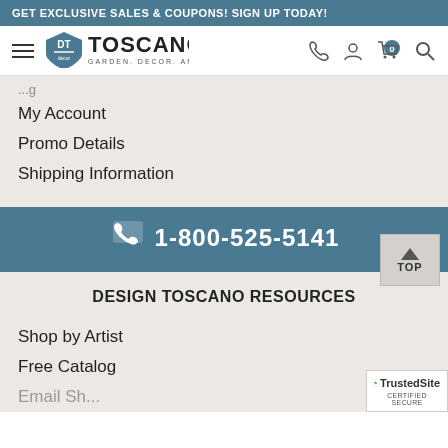GET EXCLUSIVE SALES & COUPONS! SIGN UP TODAY!
[Figure (logo): Design Toscano logo with shield emblem and text 'GARDEN. DECOR. AMAZING.']
My Account
Promo Details
Shipping Information
1-800-525-5141
DESIGN TOSCANO RESOURCES
Shop by Artist
Free Catalog
[Figure (logo): TrustedSite Certified Secure badge]